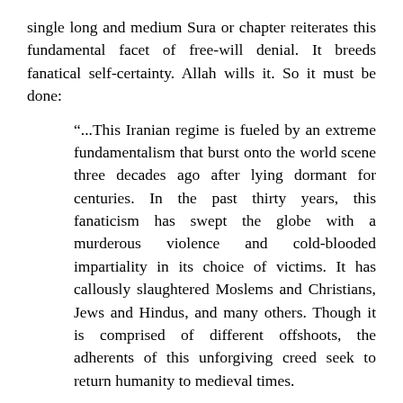single long and medium Sura or chapter reiterates this fundamental facet of free-will denial. It breeds fanatical self-certainty. Allah wills it. So it must be done:
“...This Iranian regime is fueled by an extreme fundamentalism that burst onto the world scene three decades ago after lying dormant for centuries. In the past thirty years, this fanaticism has swept the globe with a murderous violence and cold-blooded impartiality in its choice of victims. It has callously slaughtered Moslems and Christians, Jews and Hindus, and many others. Though it is comprised of different offshoots, the adherents of this unforgiving creed seek to return humanity to medieval times.
..It pits civilization against barbarism, the 21st century against the 9th century, those who sanctify